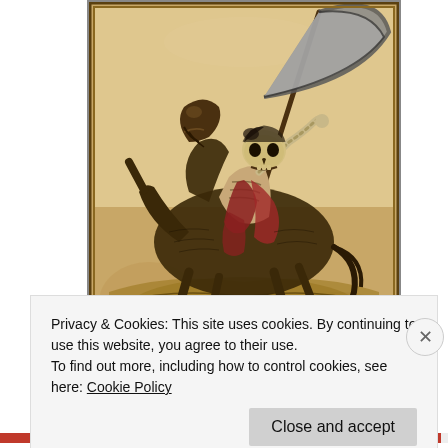[Figure (illustration): Historical woodcut-style illustration of a skeleton (Death) riding a horse and wielding a large scythe, on a yellowed/aged parchment background with dark border. The skeleton figure wears a red draped cloth and raises the scythe overhead. The horse is rearing.]
Privacy & Cookies: This site uses cookies. By continuing to use this website, you agree to their use.
To find out more, including how to control cookies, see here: Cookie Policy